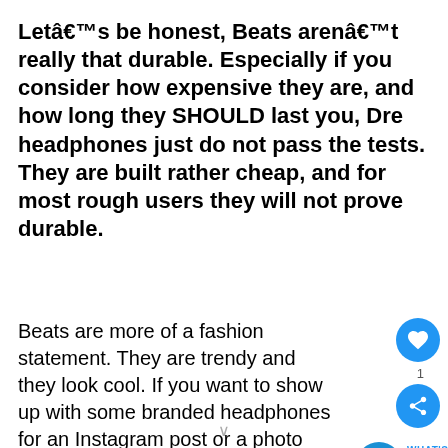Let's be honest, Beats aren't really that durable. Especially if you consider how expensive they are, and how long they SHOULD last you, Dre headphones just do not pass the tests. They are built rather cheap, and for most rough users they will not prove durable.
Beats are more of a fashion statement. They are trendy and they look cool. If you want to show up with some branded headphones for an Instagram post or a photo shoot, Beats will work just fine for you.
[Figure (infographic): Heart/like button (blue circle with heart icon), share button (blue circle with share icon), and a 'WHAT'S NEXT' widget showing a headphone icon and text 'Cheap Noise Canceling...']